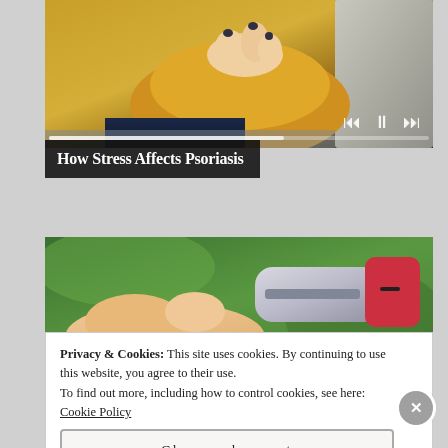[Figure (photo): Video thumbnail showing a person in a yellow sweater sitting on a couch, with video playback controls and progress bar visible.]
How Stress Affects Psoriasis
[Figure (photo): Image of a hand holding a medical device (inhaler or injection pen) against a green outdoor background.]
Privacy & Cookies: This site uses cookies. By continuing to use this website, you agree to their use.
To find out more, including how to control cookies, see here: Cookie Policy
Close and accept